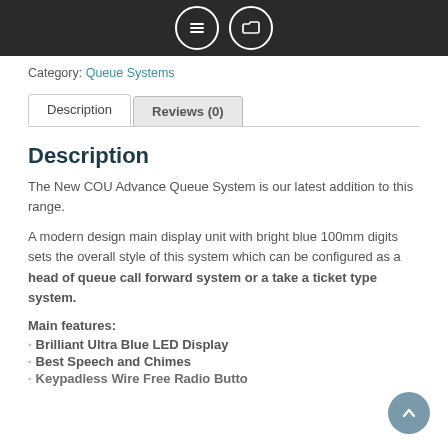Category: Queue Systems
Description | Reviews (0)
Description
The New COU Advance Queue System is our latest addition to this range.
A modern design main display unit with bright blue 100mm digits sets the overall style of this system which can be configured as a head of queue call forward system or a take a ticket type system.
Main features:
Brilliant Ultra Blue LED Display
Best Speech and Chimes
Keypadless Wire Free Radio Butto...